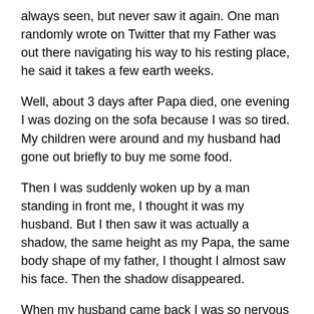always seen, but never saw it again. One man randomly wrote on Twitter that my Father was out there navigating his way to his resting place, he said it takes a few earth weeks.
Well, about 3 days after Papa died, one evening I was dozing on the sofa because I was so tired. My children were around and my husband had gone out briefly to buy me some food.
Then I was suddenly woken up by a man standing in front me, I thought it was my husband. But I then saw it was actually a shadow, the same height as my Papa, the same body shape of my father, I thought I almost saw his face. Then the shadow disappeared.
When my husband came back I was so nervous about telling him what I had seen. But I had to.